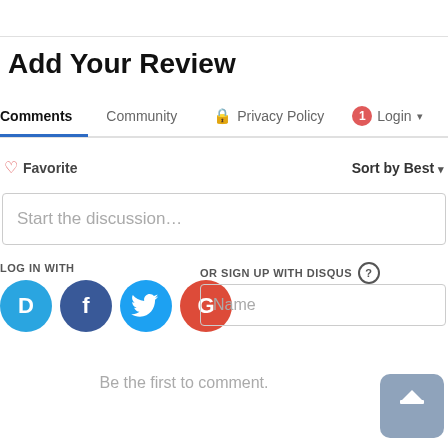Add Your Review
Comments | Community | Privacy Policy | Login
♡ Favorite  Sort by Best ▾
Start the discussion...
LOG IN WITH
OR SIGN UP WITH DISQUS ?
Name
Be the first to comment.